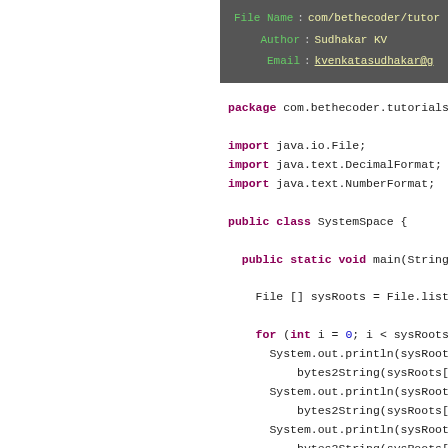File Name : com/bethecoder/tutor
Author : Sudhakar KV
Email : kvenkatasudhakar@g
[Figure (screenshot): Java source code showing package declaration, imports (java.io.File, java.text.DecimalFormat, java.text.NumberFormat), public class SystemSpace with public static void main method, File[] sysRoots = File.listRoots(), for loop iterating sysRoots with System.out.println and bytes2String calls]